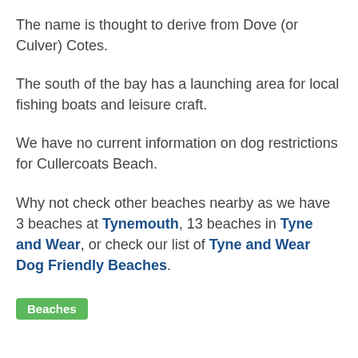The name is thought to derive from Dove (or Culver) Cotes.
The south of the bay has a launching area for local fishing boats and leisure craft.
We have no current information on dog restrictions for Cullercoats Beach.
Why not check other beaches nearby as we have 3 beaches at Tynemouth, 13 beaches in Tyne and Wear, or check our list of Tyne and Wear Dog Friendly Beaches.
Beaches